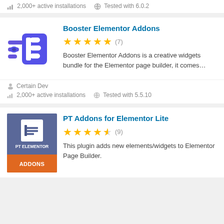2,000+ active installations   Tested with 6.0.2
Booster Elementor Addons
★★★★★ (7)
Booster Elementor Addons is a creative widgets bundle for the Elementor page builder, it comes...
Certain Dev
2,000+ active installations   Tested with 5.5.10
PT Addons for Elementor Lite
★★★★½ (9)
This plugin adds new elements/widgets to Elementor Page Builder.